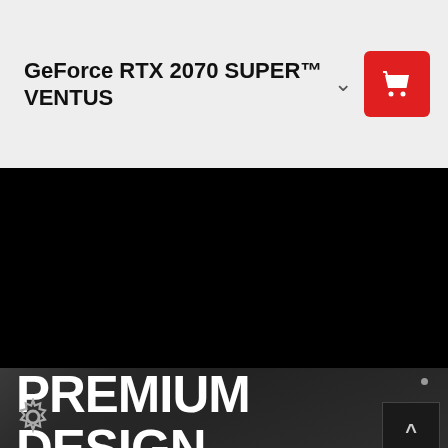GeForce RTX 2070 SUPER™ VENTUS
[Figure (photo): Black background product image area for the GeForce RTX 2070 SUPER VENTUS graphics card]
PREMIUM DESIGN
[Figure (other): Navigation dots (4 dots) and up arrow button on dark background, plus gear/settings icon in lower left]